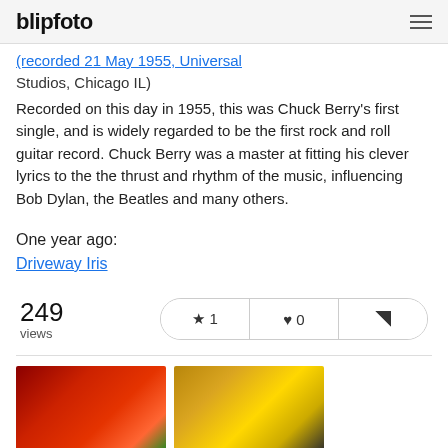blipfoto
(recorded 21 May 1955, Universal Studios, Chicago IL)
Recorded on this day in 1955, this was Chuck Berry's first single, and is widely regarded to be the first rock and roll guitar record. Chuck Berry was a master at fitting his clever lyrics to the the thrust and rhythm of the music, influencing Bob Dylan, the Beatles and many others.
One year ago:
Driveway Iris
249 views
[Figure (photo): Red flowers close-up photo thumbnail]
[Figure (photo): Yellow flowers close-up photo thumbnail]